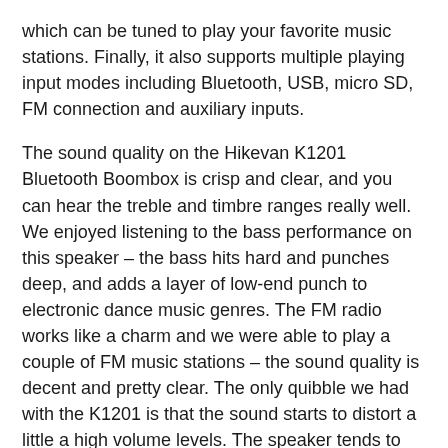which can be tuned to play your favorite music stations. Finally, it also supports multiple playing input modes including Bluetooth, USB, micro SD, FM connection and auxiliary inputs.
The sound quality on the Hikevan K1201 Bluetooth Boombox is crisp and clear, and you can hear the treble and timbre ranges really well. We enjoyed listening to the bass performance on this speaker – the bass hits hard and punches deep, and adds a layer of low-end punch to electronic dance music genres. The FM radio works like a charm and we were able to play a couple of FM music stations – the sound quality is decent and pretty clear. The only quibble we had with the K1201 is that the sound starts to distort a little a high volume levels. The speaker tends to vibrate at maximum volume due to the heavy bass output. The entire package comes with the portable Bluetooth Boombox, wired microphone, charger, charging cable and 3.5mm audio cable and user manual for easy